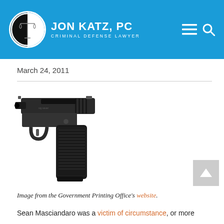JON KATZ, PC — Criminal Defense Lawyer
March 24, 2011
[Figure (photo): A semi-automatic handgun (Sig Sauer style pistol) photographed against a white background, viewed from the left side.]
Image from the Government Printing Office's website.
Sean Masciandaro was a victim of circumstance, or more